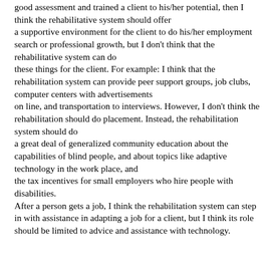good assessment and trained a client to his/her potential, then I think the rehabilitative system should offer a supportive environment for the client to do his/her employment search or professional growth, but I don't think that the rehabilitative system can do these things for the client. For example: I think that the rehabilitation system can provide peer support groups, job clubs, computer centers with advertisements on line, and transportation to interviews. However, I don't think the rehabilitation should do placement. Instead, the rehabilitation system should do a great deal of generalized community education about the capabilities of blind people, and about topics like adaptive technology in the work place, and the tax incentives for small employers who hire people with disabilities. After a person gets a job, I think the rehabilitation system can step in with assistance in adapting a job for a client, but I think its role should be limited to advice and assistance with technology.